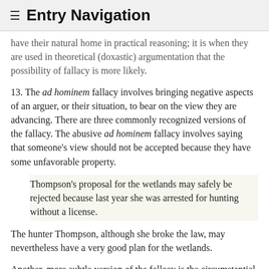≡ Entry Navigation
have their natural home in practical reasoning; it is when they are used in theoretical (doxastic) argumentation that the possibility of fallacy is more likely.
13. The ad hominem fallacy involves bringing negative aspects of an arguer, or their situation, to bear on the view they are advancing. There are three commonly recognized versions of the fallacy. The abusive ad hominem fallacy involves saying that someone's view should not be accepted because they have some unfavorable property.
Thompson's proposal for the wetlands may safely be rejected because last year she was arrested for hunting without a license.
The hunter Thompson, although she broke the law, may nevertheless have a very good plan for the wetlands.
Another, more subtle version of the fallacy is the circumstantial ad hominem in which, given the circumstances in which the arguer finds him or herself, it is alleged that their position is supported by self-interest rather than by honest insight. However, the justification for dismissing...